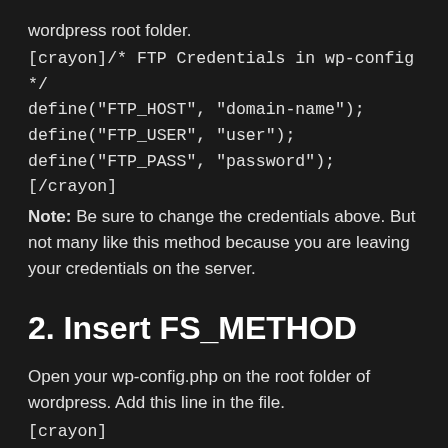wordpress root folder.
[crayon]/* FTP Credentials in wp-config */
define("FTP_HOST", "domain-name");
define("FTP_USER", "user");
define("FTP_PASS", "password");[/crayon]
Note: Be sure to change the credentials above. But not many like this method because you are leaving your credentials on the server.
2. Insert FS_METHOD
Open your wp-config.php on the root folder of wordpress. Add this line in the file.
[crayon]
/*FS Method added to bipass FTP*/